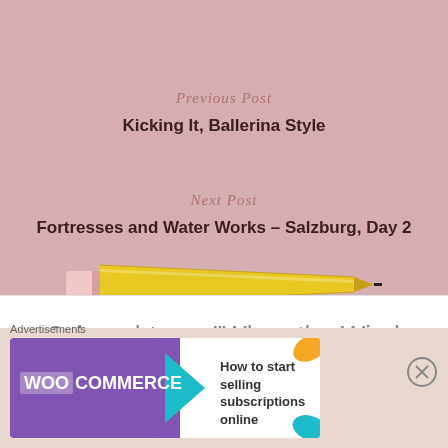Previous Post
Kicking It, Ballerina Style
Next Post
Fortresses and Water Works – Salzburg, Day 2
[Figure (illustration): A yellow pencil with eraser, pointing right]
2 thoughts on “When the Wind Turns – Part 2 (of 4)”
Advertisements
[Figure (screenshot): WooCommerce advertisement banner: How to start selling subscriptions online]